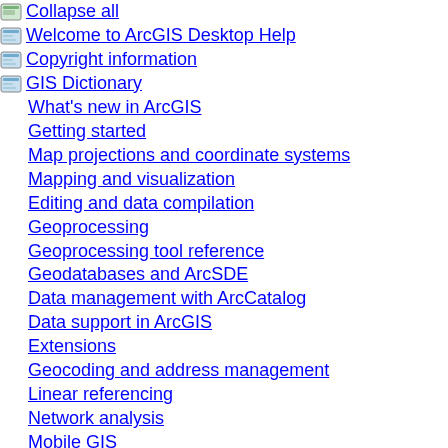Collapse all
Welcome to ArcGIS Desktop Help
Copyright information
GIS Dictionary
What's new in ArcGIS
Getting started
Map projections and coordinate systems
Mapping and visualization
Editing and data compilation
Geoprocessing
Geoprocessing tool reference
Geodatabases and ArcSDE
Data management with ArcCatalog
Data support in ArcGIS
Extensions
Geocoding and address management
Linear referencing
Network analysis
Mobile GIS
Interoperability and standards support
Customizing and developing with ArcGIS
Guide to data that comes with ArcGIS
Licensing and desktop administration
ArcGIS Image Server
GIS Servers and services